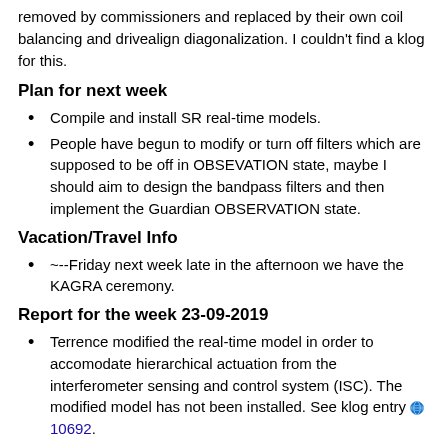removed by commissioners and replaced by their own coil balancing and drivealign diagonalization. I couldn't find a klog for this.
Plan for next week
Compile and install SR real-time models.
People have begun to modify or turn off filters which are supposed to be off in OBSEVATION state, maybe I should aim to design the bandpass filters and then implement the Guardian OBSERVATION state.
Vacation/Travel Info
--Friday next week late in the afternoon we have the KAGRA ceremony.
Report for the week 23-09-2019
Terrence modified the real-time model in order to accomodate hierarchical actuation from the interferometer sensing and control system (ISC). The modified model has not been installed. See klog entry 10692.